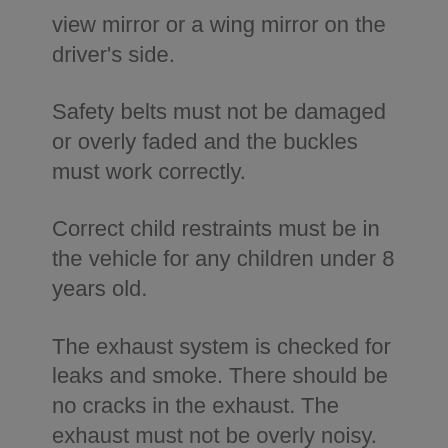view mirror or a wing mirror on the driver's side.
Safety belts must not be damaged or overly faded and the buckles must work correctly.
Correct child restraints must be in the vehicle for any children under 8 years old.
The exhaust system is checked for leaks and smoke. There should be no cracks in the exhaust. The exhaust must not be overly noisy.
Suspension system. There should be clearance between the tyres and bodywork and no components should be touching the ground.